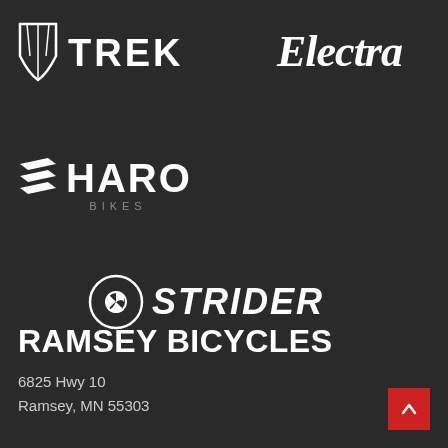[Figure (logo): Trek bicycle brand logo - shield icon with TREK text in white]
[Figure (logo): Electra bicycle brand logo in white script/italic lettering]
[Figure (logo): Haro Bikes brand logo with chevron/wing icon and HARO BIKES text in white]
[Figure (logo): Strider brand logo with circular icon and STRIDER bold text in white]
RAMSEY BICYCLES
6825 Hwy 10
Ramsey, MN 55303